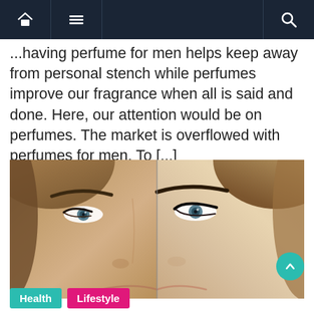Navigation bar with home, menu, and search icons
...having perfume for men helps keep away from personal stench while perfumes improve our fragrance when all is said and done. Here, our attention would be on perfumes. The market is overflowed with perfumes for men. To [...]
[Figure (photo): Split portrait photo of a woman showing two halves of the face side by side, separated by a vertical line, showing before/after or natural/makeup comparison]
Health
Lifestyle